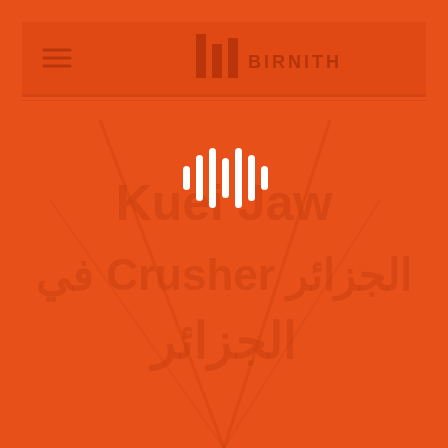[Figure (screenshot): Orange branded webpage screenshot for Birnith company showing a navigation header with hamburger menu, Birnith logo and text, with overlaid audio waveform icon and Arabic/English text about Kuei Jaw Crusher in Algeria]
Kuei Jaw Crusher
الجزائر Crusher في الجزائر